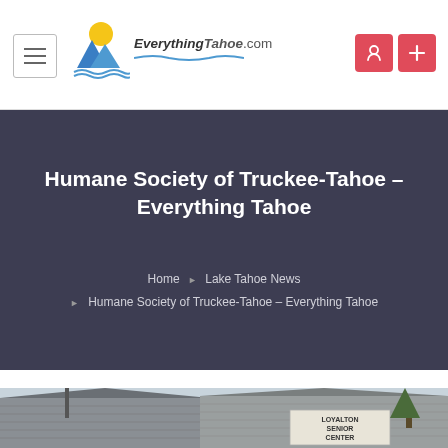EverythingTahoe.com — navigation bar with hamburger menu and logo
Humane Society of Truckee-Tahoe – Everything Tahoe
Home › Lake Tahoe News › Humane Society of Truckee-Tahoe – Everything Tahoe
[Figure (photo): Exterior photo of a building with sign reading 'Loyalton Senior Center', partially visible at bottom of page]